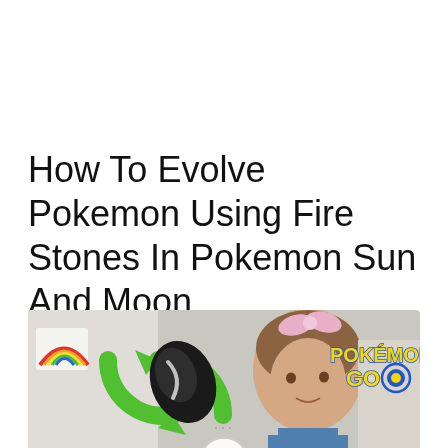How To Evolve Pokemon Using Fire Stones In Pokemon Sun And Moon
[Figure (screenshot): Video thumbnail showing a woman with a pink hair bow, green recycle/evolution arrows icon, a black Unova stone, and the Pokemon GO logo in the upper right. A play button circle is visible at the bottom center.]